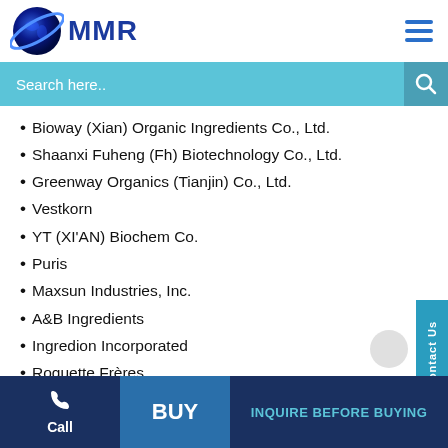MMR
Bioway (Xian) Organic Ingredients Co., Ltd.
Shaanxi Fuheng (Fh) Biotechnology Co., Ltd.
Greenway Organics (Tianjin) Co., Ltd.
Vestkorn
YT (XI'AN) Biochem Co.
Puris
Maxsun Industries, Inc.
A&B Ingredients
Ingredion Incorporated
Roquette Frères
Emsland Group
FENCHEM
DuPont
Glanbia plc
Burcon
Call  BUY  INQUIRE BEFORE BUYING